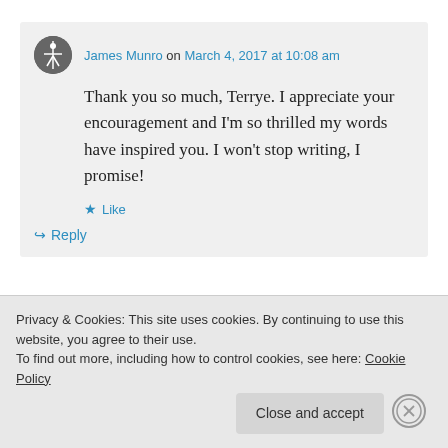James Munro on March 4, 2017 at 10:08 am
Thank you so much, Terrye. I appreciate your encouragement and I'm so thrilled my words have inspired you. I won't stop writing, I promise!
Like
Reply
Privacy & Cookies: This site uses cookies. By continuing to use this website, you agree to their use.
To find out more, including how to control cookies, see here: Cookie Policy
Close and accept